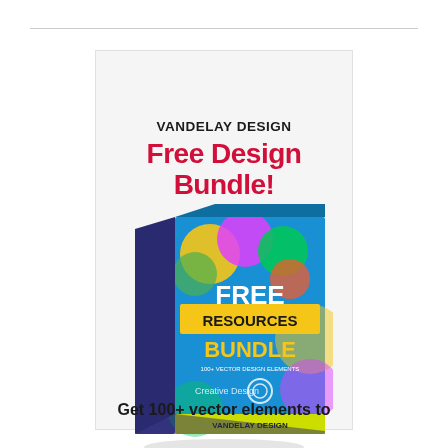VANDELAY DESIGN
Free Design Bundle!
[Figure (illustration): A 3D box product mockup for 'Free Resources Bundle' by Vandelay Design, featuring colorful circles and design elements on a blue background with yellow stripe at bottom, with text 'FREE RESOURCES BUNDLE 100+ VECTOR DESIGN ELEMENTS' on the side and front.]
Get 100+ vector elements to